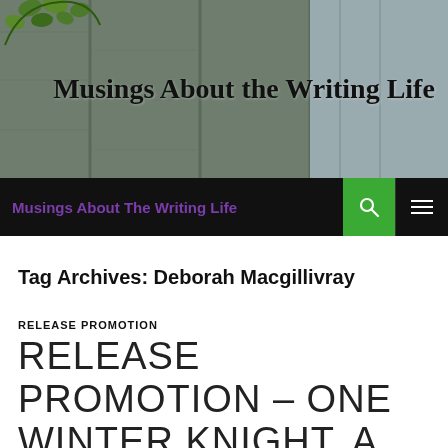[Figure (photo): Website header image showing wooden fence planks with green ivy/leaf decoration on the left side. Bold text reads 'Musings About the Writing Life' overlaid on the image.]
Musings About The Writing Life
Tag Archives: Deborah Macgillivray
RELEASE PROMOTION
RELEASE PROMOTION – ONE WINTER KNIGHT, A MEDIEVAL CHRISTMAS ANTHOLOGY